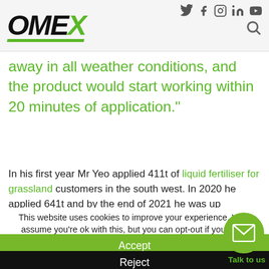OMEX — social icons: twitter, facebook, instagram, linkedin, youtube — search
away in all weather conditions, and the product would start working within 20 minutes of application."
In his first year Mr Yeo applied 411t of liquid fertiliser for grassland customers in the south west. In 2020 he applied 641t and by the end of 2021 he was up
This website uses cookies to improve your experience. We'll assume you're ok with this, but you can opt-out if you wish.
Accept
Reject
Talk to us
Read More